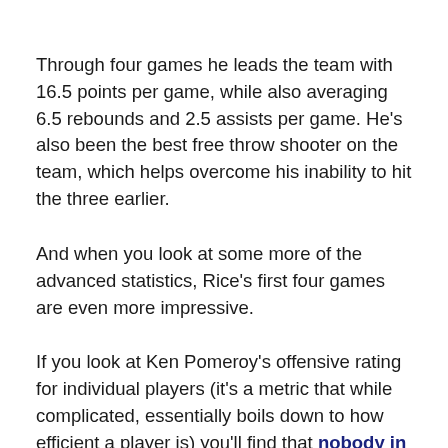Through four games he leads the team with 16.5 points per game, while also averaging 6.5 rebounds and 2.5 assists per game. He's also been the best free throw shooter on the team, which helps overcome his inability to hit the three earlier.
And when you look at some more of the advanced statistics, Rice's first four games are even more impressive.
If you look at Ken Pomeroy's offensive rating for individual players (it's a metric that while complicated, essentially boils down to how efficient a player is) you'll find that nobody in the Big Ten has a higher rating than Rayvonte Rice amongst players with a usage